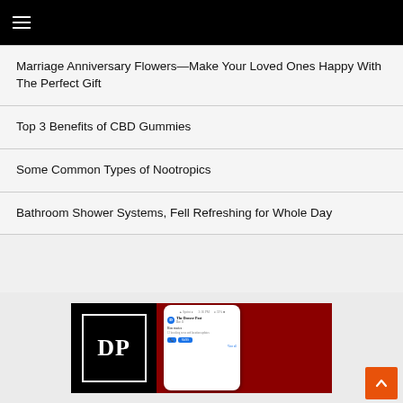≡
Marriage Anniversary Flowers—Make Your Loved Ones Happy With The Perfect Gift
Top 3 Benefits of CBD Gummies
Some Common Types of Nootropics
Bathroom Shower Systems, Fell Refreshing for Whole Day
[Figure (screenshot): Advertisement banner showing the Denver Post logo (DP in a square) on a dark red background alongside a phone showing The Denver Post app notification. An orange scroll-to-top button is in the bottom right.]